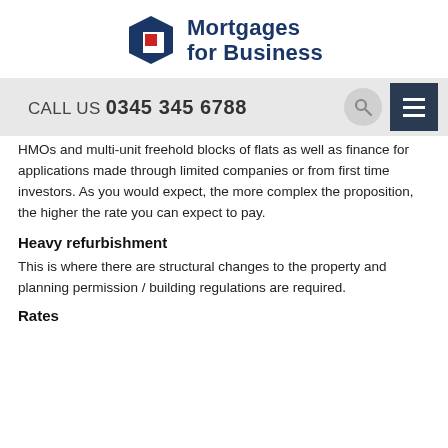[Figure (logo): Mortgages for Business logo — blue hexagon shape with a red square inside, beside bold blue text 'Mortgages for Business']
CALL US 0345 345 6788
HMOs and multi-unit freehold blocks of flats as well as finance for applications made through limited companies or from first time investors. As you would expect, the more complex the proposition, the higher the rate you can expect to pay.
Heavy refurbishment
This is where there are structural changes to the property and planning permission / building regulations are required.
Rates